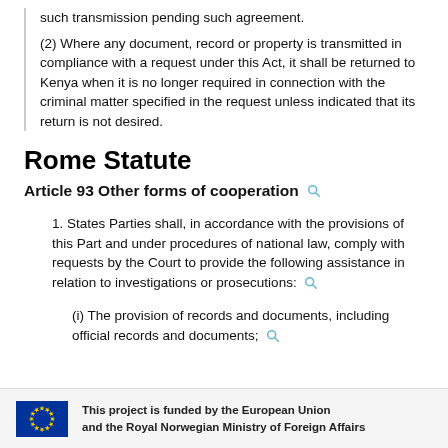such transmission pending such agreement.
(2) Where any document, record or property is transmitted in compliance with a request under this Act, it shall be returned to Kenya when it is no longer required in connection with the criminal matter specified in the request unless indicated that its return is not desired.
Rome Statute
Article 93 Other forms of cooperation
1. States Parties shall, in accordance with the provisions of this Part and under procedures of national law, comply with requests by the Court to provide the following assistance in relation to investigations or prosecutions:
(i) The provision of records and documents, including official records and documents;
This project is funded by the European Union and the Royal Norwegian Ministry of Foreign Affairs